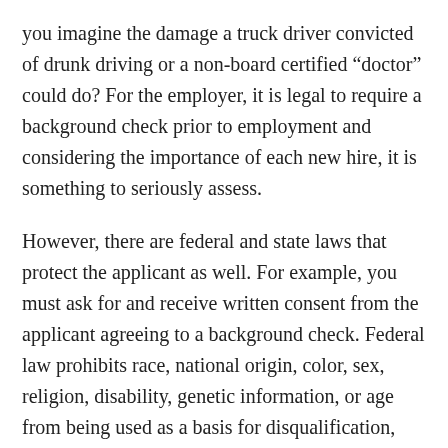you imagine the damage a truck driver convicted of drunk driving or a non-board certified “doctor” could do? For the employer, it is legal to require a background check prior to employment and considering the importance of each new hire, it is something to seriously assess.
However, there are federal and state laws that protect the applicant as well. For example, you must ask for and receive written consent from the applicant agreeing to a background check. Federal law prohibits race, national origin, color, sex, religion, disability, genetic information, or age from being used as a basis for disqualification, and background checks mustn't be used to subvert that law, which is enforced by the Equal Employment Opportunity Commission (EEOC). Determinations on who is required to undergo a background check and how the results impact